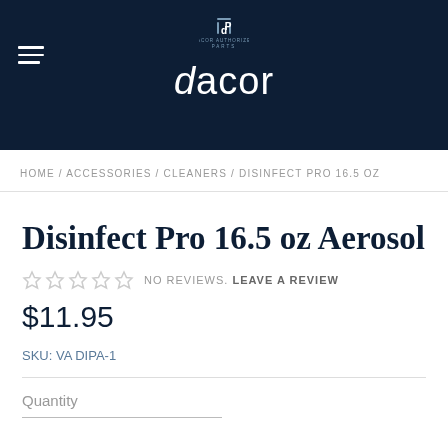[Figure (logo): Dacor Authorized Parts logo in dark navy header with hamburger menu icon and dacor brand name in white italic-styled text]
HOME / ACCESSORIES / CLEANERS / DISINFECT PRO 16.5 OZ
Disinfect Pro 16.5 oz Aerosol
NO REVIEWS. LEAVE A REVIEW
$11.95
SKU: VA DIPA-1
Quantity